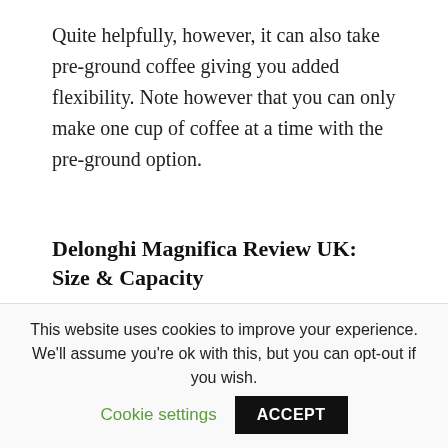Quite helpfully, however, it can also take pre-ground coffee giving you added flexibility. Note however that you can only make one cup of coffee at a time with the pre-ground option.
Delonghi Magnifica Review UK: Size & Capacity
When selecting a new appliance for your kitchen counter the size of the machine you are looking at can often play a key part in the
This website uses cookies to improve your experience. We'll assume you're ok with this, but you can opt-out if you wish. Cookie settings ACCEPT